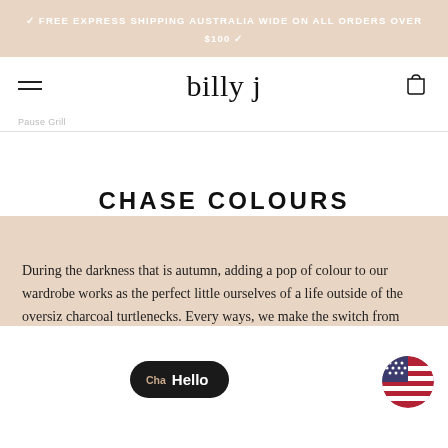FREE EXPRESS SHIPPING AUSTRALIA WIDE ON ALL ORDERS OVER $100
billy j
Pause Grill
CHASE COLOURS
During the darkness that is autumn, adding a pop of colour to our wardrobe works as the perfect little ourselves of a life outside of the oversiz charcoal turtlenecks. Every ways, we make the switch from